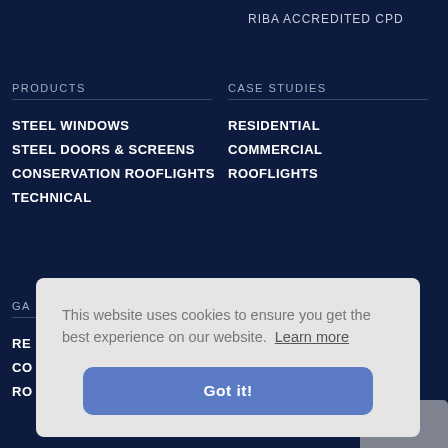RIBA ACCREDITED CPD
PRODUCTS
STEEL WINDOWS
STEEL DOORS & SCREENS
CONSERVATION ROOFLIGHTS
TECHNICAL
CASE STUDIES
RESIDENTIAL
COMMERCIAL
ROOFLIGHTS
GA
RE
CO
RO
This website uses cookies to ensure you get the best experience on our website. Learn more
Got it!